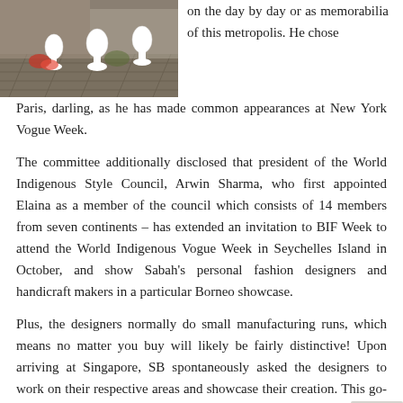[Figure (photo): Photo of decorative white vase/lamp post arrangements on a brick pavement, with red flowers, in an outdoor urban setting.]
on the day by day or as memorabilia of this metropolis. He chose Paris, darling, as he has made common appearances at New York Vogue Week.
The committee additionally disclosed that president of the World Indigenous Style Council, Arwin Sharma, who first appointed Elaina as a member of the council which consists of 14 members from seven continents – has extended an invitation to BIF Week to attend the World Indigenous Vogue Week in Seychelles Island in October, and show Sabah's personal fashion designers and handicraft makers in a particular Borneo showcase.
Plus, the designers normally do small manufacturing runs, which means no matter you buy will likely be fairly distinctive! Upon arriving at Singapore, SB spontaneously asked the designers to work on their respective areas and showcase their creation. This go-getter angle can be seen in lots of facets of his life, similar to in 2005, when he give up as a tv film producer and moved to New York with no job offer.